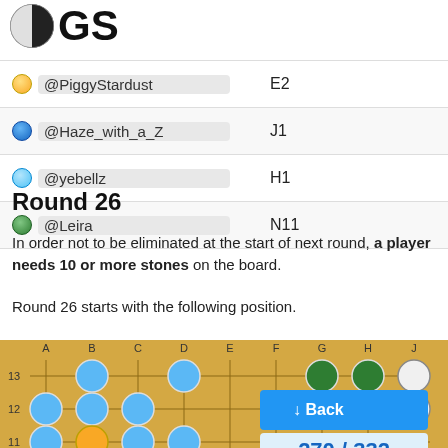[Figure (logo): OGS logo: half black half white circle with 'GS' text]
| Player | Move |
| --- | --- |
| @PiggyStardust | E2 |
| @Haze_with_a_Z | J1 |
| @yebellz | H1 |
| @Leira | N11 |
Round 26
In order not to be eliminated at the start of next round, a player needs 10 or more stones on the board.
Round 26 starts with the following position.
[Figure (other): Go board showing game position with colored stones: blue, green, yellow, white stones on a 13-column board labeled A-N rows 10-13]
270 / 332